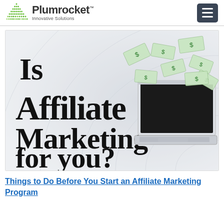Plumrocket™ Innovative Solutions
[Figure (illustration): Hero banner image with text 'Is Affiliate Marketing for you?' on a light grey radial background with a laptop and flying dollar bills illustration]
Things to Do Before You Start an Affiliate Marketing Program